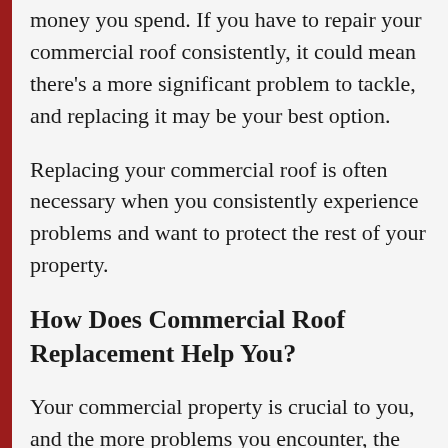money you spend. If you have to repair your commercial roof consistently, it could mean there's a more significant problem to tackle, and replacing it may be your best option.
Replacing your commercial roof is often necessary when you consistently experience problems and want to protect the rest of your property.
How Does Commercial Roof Replacement Help You?
Your commercial property is crucial to you, and the more problems you encounter, the more necessary it becomes to replace your roof. It's vital to recognize